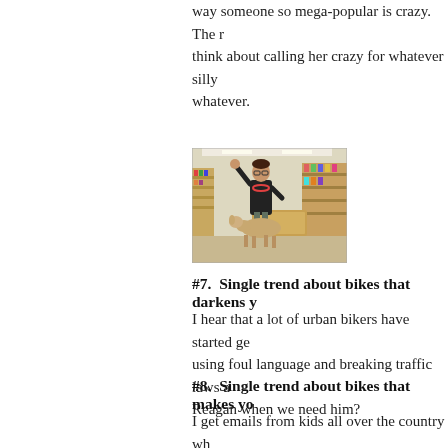way someone so mega-popular is crazy. The r… think about calling her crazy for whatever silly… whatever.
[Figure (photo): Person on a ride or animal inside a store/shop aisle, raising one hand, with store shelves visible in the background.]
#7.  Single trend about bikes that darkens y…
I hear that a lot of urban bikers have started ge… using foul language and breaking traffic laws a… Reagan when we need him?
#8.  Single trend about bikes that makes yo…
I get emails from kids all over the country wh… sponsors. I totally dig it, because it means mo… an adventure. They're committed and enlighte… standard of slumping into an over-cushy car s… monotonous/soothing/soporific voice of NPR…